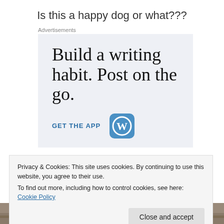Is this a happy dog or what???
Advertisements
[Figure (illustration): WordPress advertisement: 'Build a writing habit. Post on the go.' with GET THE APP call to action and WordPress logo]
Privacy & Cookies: This site uses cookies. By continuing to use this website, you agree to their use.
To find out more, including how to control cookies, see here: Cookie Policy
[Figure (photo): Bottom edge of a photo showing what appears to be a dog outdoors]